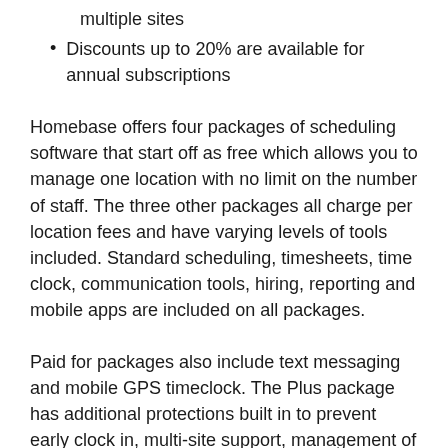multiple sites
Discounts up to 20% are available for annual subscriptions
Homebase offers four packages of scheduling software that start off as free which allows you to manage one location with no limit on the number of staff. The three other packages all charge per location fees and have varying levels of tools included. Standard scheduling, timesheets, time clock, communication tools, hiring, reporting and mobile apps are included on all packages.
Paid for packages also include text messaging and mobile GPS timeclock. The Plus package has additional protections built in to prevent early clock in, multi-site support, management of